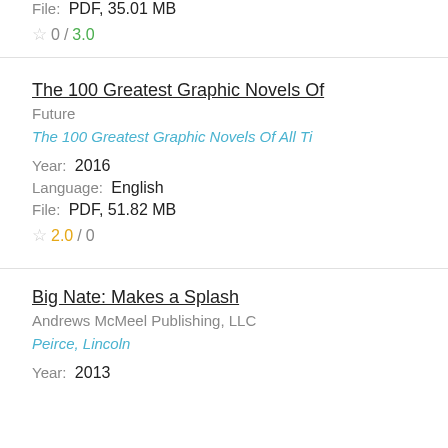File: PDF, 35.01 MB
0 / 3.0
The 100 Greatest Graphic Novels Of
Future
The 100 Greatest Graphic Novels Of All Ti
Year: 2016
Language: English
File: PDF, 51.82 MB
2.0 / 0
Big Nate: Makes a Splash
Andrews McMeel Publishing, LLC
Peirce, Lincoln
Year: 2013